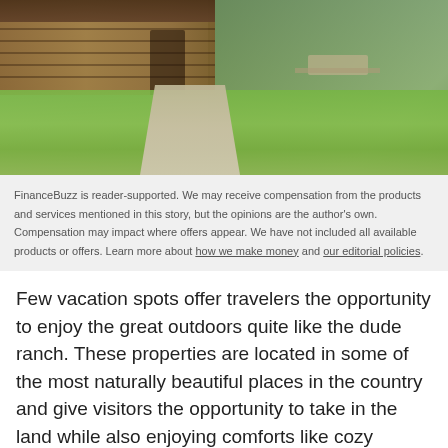[Figure (photo): Outdoor photo of a log cabin dude ranch with a paved pathway leading through a green lawn, picnic tables visible in the background, trees surrounding the property.]
FinanceBuzz is reader-supported. We may receive compensation from the products and services mentioned in this story, but the opinions are the author's own. Compensation may impact where offers appear. We have not included all available products or offers. Learn more about how we make money and our editorial policies.
Few vacation spots offer travelers the opportunity to enjoy the great outdoors quite like the dude ranch. These properties are located in some of the most naturally beautiful places in the country and give visitors the opportunity to take in the land while also enjoying comforts like cozy cabins, fine dining, and a bevy of fun ranching activities.
There are many different types to choose from